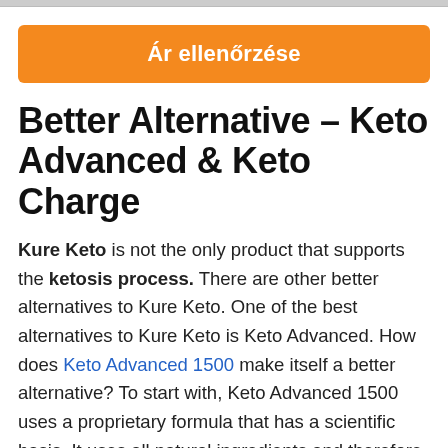[Figure (other): Gray top border strip]
Ár ellenőrzése
Better Alternative – Keto Advanced & Keto Charge
Kure Keto is not the only product that supports the ketosis process. There are other better alternatives to Kure Keto. One of the best alternatives to Kure Keto is Keto Advanced. How does Keto Advanced 1500 make itself a better alternative? To start with, Keto Advanced 1500 uses a proprietary formula that has a scientific basis. It uses all natural ingredients and therefore one does not have to worry about any undesirable side effects. It has been reported by the users this supplement starts